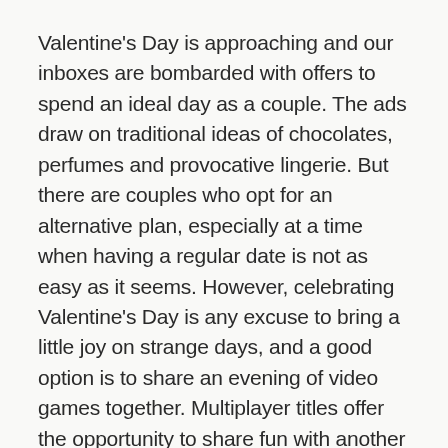Valentine's Day is approaching and our inboxes are bombarded with offers to spend an ideal day as a couple. The ads draw on traditional ideas of chocolates, perfumes and provocative lingerie. But there are couples who opt for an alternative plan, especially at a time when having a regular date is not as easy as it seems. However, celebrating Valentine's Day is any excuse to bring a little joy on strange days, and a good option is to share an evening of video games together. Multiplayer titles offer the opportunity to share fun with another person, whether they are by our side or miles from us. Of course, this option is not restricted only to couples, but to anyone who wants to share a game with another person. After all, love doesn't have to be just romantic. Today at